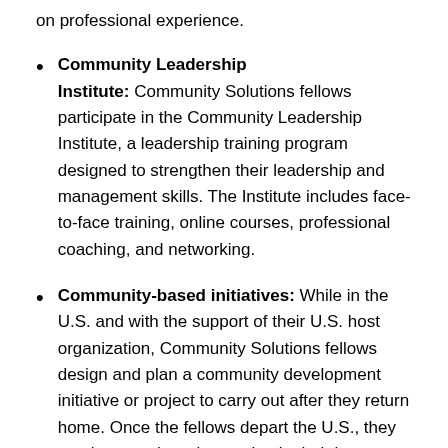on professional experience.
Community Leadership Institute: Community Solutions fellows participate in the Community Leadership Institute, a leadership training program designed to strengthen their leadership and management skills. The Institute includes face-to-face training, online courses, professional coaching, and networking.
Community-based initiatives: While in the U.S. and with the support of their U.S. host organization, Community Solutions fellows design and plan a community development initiative or project to carry out after they return home. Once the fellows depart the U.S., they put these projects into action in their home